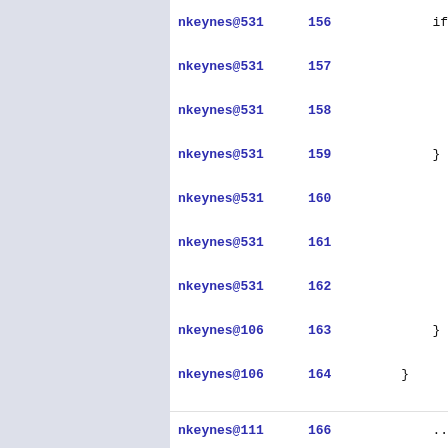nkeynes@531  156    if( displa
nkeynes@531  157        ERROR(
nkeynes@531  158        exit(2
nkeynes@531  159    } else if(
nkeynes@531  160        ERROR(
nkeynes@531  161
nkeynes@531  162        exit(2
nkeynes@106  163    }
nkeynes@106  164  }
nkeynes@106  165
nkeynes@111  166    ...